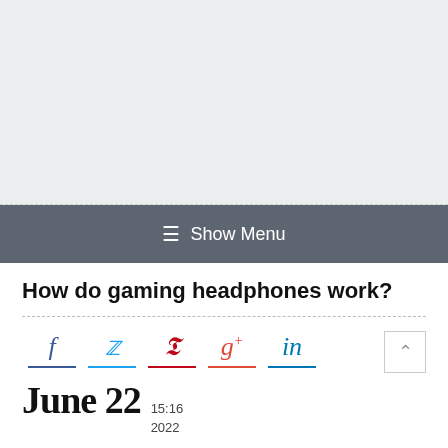[Figure (other): Gray banner/advertisement placeholder area at top of page]
≡ Show Menu
How do gaming headphones work?
[Figure (infographic): Social media share icons: Facebook (f), Twitter (bird), Pinterest (P), Google+ (g+), LinkedIn (in), each with colored underline. Back-to-top arrow button on right.]
June 22  15:16  2022